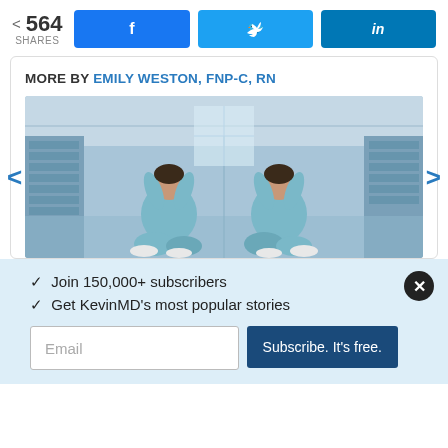< 564 SHARES
[Figure (screenshot): Facebook, Twitter, LinkedIn share buttons in blue]
MORE BY EMILY WESTON, FNP-C, RN
[Figure (photo): Two nurses in scrubs sitting on floor back-to-back with heads in hands, appearing stressed or exhausted, reflected image]
✓ Join 150,000+ subscribers
✓ Get KevinMD's most popular stories
Email | Subscribe. It's free.